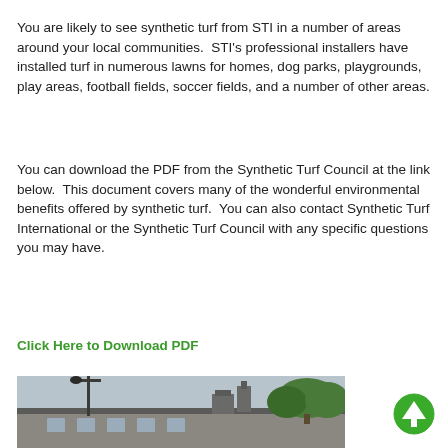You are likely to see synthetic turf from STI in a number of areas around your local communities.  STI's professional installers have installed turf in numerous lawns for homes, dog parks, playgrounds, play areas, football fields, soccer fields, and a number of other areas.
You can download the PDF from the Synthetic Turf Council at the link below.  This document covers many of the wonderful environmental benefits offered by synthetic turf.  You can also contact Synthetic Turf International or the Synthetic Turf Council with any specific questions you may have.
Click Here to Download PDF
[Figure (photo): Photograph of a building exterior with a tree visible and a cloudy sky background. An up-arrow icon in a green circle appears in the bottom-right corner of the page.]